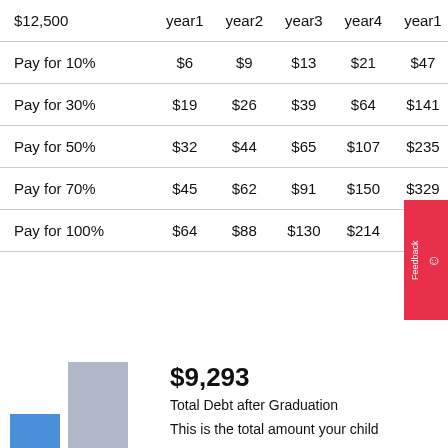|  | year1 | year2 | year3 | year4 | year1 |
| --- | --- | --- | --- | --- | --- |
| Pay for 10% | $6 | $9 | $13 | $21 | $47 |
| Pay for 30% | $19 | $26 | $39 | $64 | $141 |
| Pay for 50% | $32 | $44 | $65 | $107 | $235 |
| Pay for 70% | $45 | $62 | $91 | $150 | $329 |
| Pay for 100% | $64 | $88 | $130 | $214 | $470 |
$9,293
Total Debt after Graduation
This is the total amount your child
[Figure (bar-chart): Partial bar chart showing two bars, one grey and one blue, visible at bottom of page]